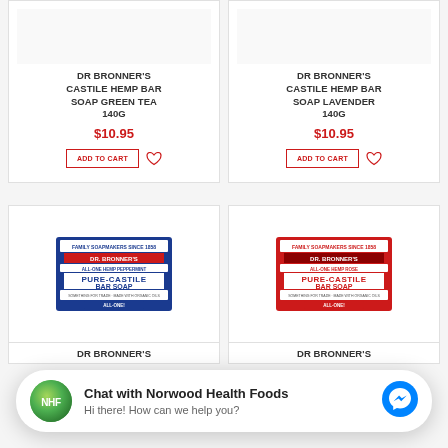[Figure (screenshot): E-commerce product grid showing Dr Bronner's soap products with prices and Add to Cart buttons, plus a chat widget overlay]
DR BRONNER'S CASTILE HEMP BAR SOAP GREEN TEA 140G
$10.95
ADD TO CART
DR BRONNER'S CASTILE HEMP BAR SOAP LAVENDER 140G
$10.95
ADD TO CART
DR BRONNER'S
DR BRONNER'S
Chat with Norwood Health Foods
Hi there! How can we help you?